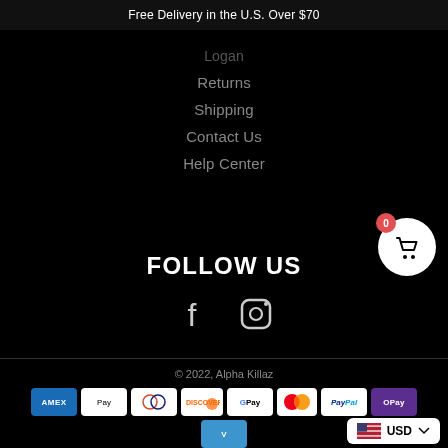Free Delivery in the U.S. Over $70
Logan
Returns
Shipping
Contact Us
Help Center
FOLLOW US
[Figure (illustration): Facebook and Instagram social media icons]
© 2022, Alpha Killaz
[Figure (illustration): Payment method icons: AMEX, Apple Pay, Diners, Discover, Google Pay, Mastercard, PayPal, OPay, Venmo, Visa]
[Figure (other): USD currency selector with US flag]